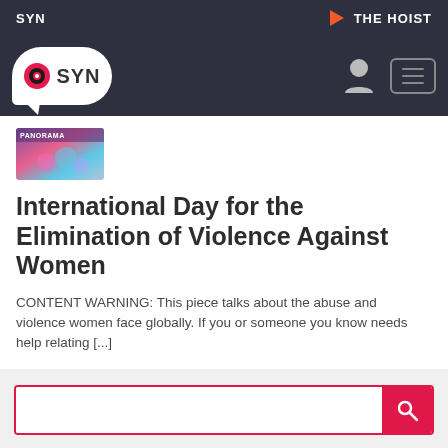SYN | THE HOIST
[Figure (logo): SYN media logo with circular icon in speech bubble]
[Figure (illustration): Small colorful thumbnail image with PANORAMA text overlay]
International Day for the Elimination of Violence Against Women
CONTENT WARNING: This piece talks about the abuse and violence women face globally. If you or someone you know needs help relating [...]
[Figure (other): Search bar with red border and red search button with magnifying glass icon]
[Figure (other): Social media icons: Facebook, Instagram, Twitter, YouTube]